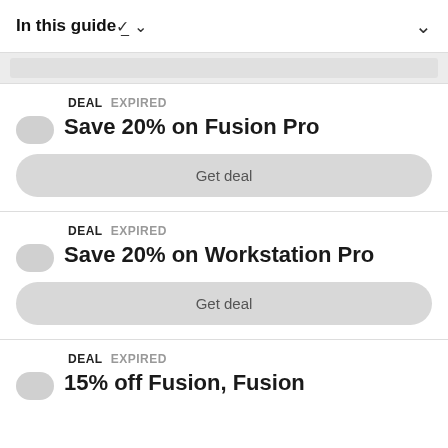In this guide
DEAL  EXPIRED
Save 20% on Fusion Pro
Get deal
DEAL  EXPIRED
Save 20% on Workstation Pro
Get deal
DEAL  EXPIRED
15% off Fusion, Fusion